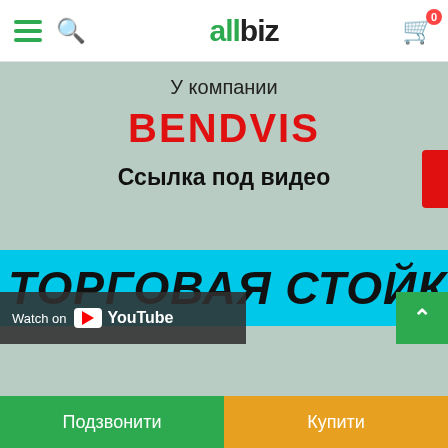allbiz navigation bar with hamburger menu, search, logo, and cart
У компании
BENDVIS
Ссылка под видео
[Figure (screenshot): Cyan banner with bold italic text: ТОРГОВАЯ СТОЙКА]
[Figure (screenshot): YouTube Watch on overlay in dark background]
Подзвонити | Купити